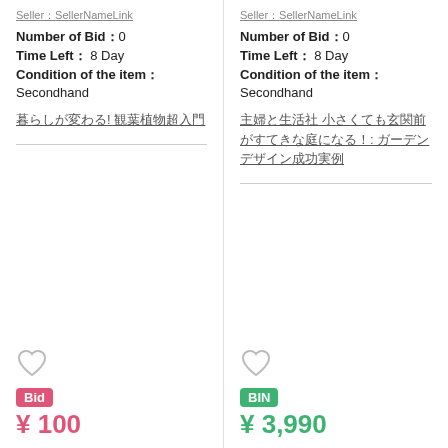Seller：(seller name link)
Number of Bid：0
Time Left：8 Day
Condition of the item：
Secondhand
暮らしが変わる! 観葉植物超入門
Bid ¥ 100
Seller：(seller name link)
Number of Bid：0
Time Left：8 Day
Condition of the item：
Secondhand
主婦と生活社 小さくても玄関前がすてきな庭になる！: ガーデンデザイン成功実例
BIN ¥ 3,990